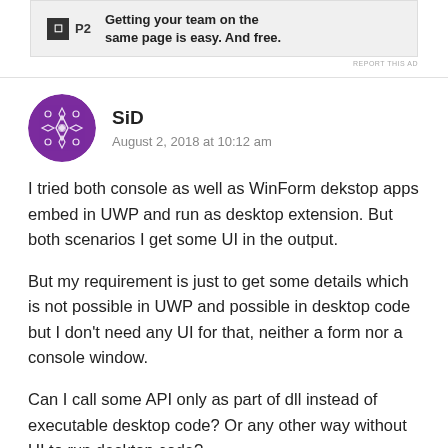[Figure (other): Advertisement banner for P2 product with logo and text: Getting your team on the same page is easy. And free.]
REPORT THIS AD
SiD
August 2, 2018 at 10:12 am
I tried both console as well as WinForm dekstop apps embed in UWP and run as desktop extension. But both scenarios I get some UI in the output.
But my requirement is just to get some details which is not possible in UWP and possible in desktop code but I don't need any UI for that, neither a form nor a console window.
Can I call some API only as part of dll instead of executable desktop code? Or any other way without UI to run desktop code?